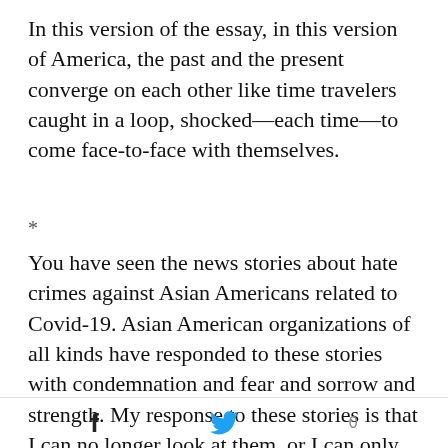In this version of the essay, in this version of America, the past and the present converge on each other like time travelers caught in a loop, shocked—each time—to come face-to-face with themselves.
*
You have seen the news stories about hate crimes against Asian Americans related to Covid-19. Asian American organizations of all kinds have responded to these stories with condemnation and fear and sorrow and strength. My response to these stories is that I can no longer look at them, or I can only look sideways, through my fingers. Our litany of pain and rage. (The
f  [twitter bird]  0